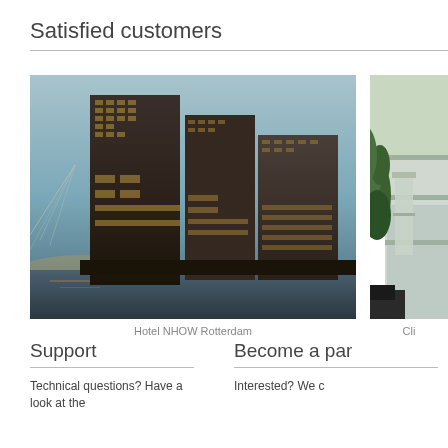Satisfied customers
[Figure (photo): Aerial/exterior photo of Hotel NHOW Rotterdam, a modern dark glass skyscraper complex at dusk near waterfront]
Hotel NHOW Rotterdam
[Figure (photo): Partial exterior photo of a building entrance with tropical plants and a glass/metal sign structure (partially cropped)]
Cli
Support
Technical questions? Have a look at the
Become a par
Interested? We c